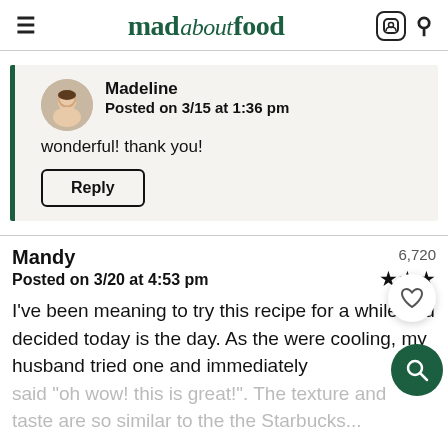mad about food
Madeline
Posted on 3/15 at 1:36 pm
wonderful! thank you!
Reply
Mandy
Posted on 3/20 at 4:53 pm
6,720
I've been meaning to try this recipe for a while and decided today is the day. As the were cooling, my husband tried one and immediately said "oh wow! this is great!". The texture and taste are so similar to the the Starbucks...